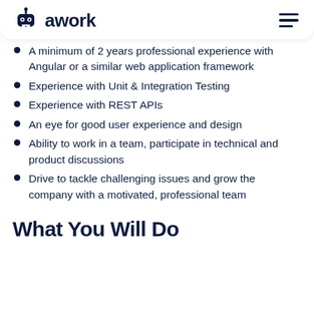awork
A minimum of 2 years professional experience with Angular or a similar web application framework
Experience with Unit & Integration Testing
Experience with REST APIs
An eye for good user experience and design
Ability to work in a team, participate in technical and product discussions
Drive to tackle challenging issues and grow the company with a motivated, professional team
What You Will Do